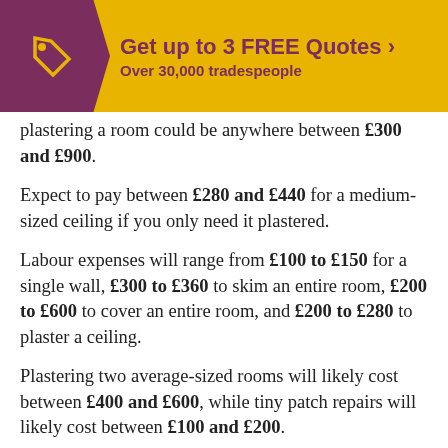Get up to 3 FREE Quotes › Over 30,000 tradespeople
plastering a room could be anywhere between £300 and £900.
Expect to pay between £280 and £440 for a medium-sized ceiling if you only need it plastered.
Labour expenses will range from £100 to £150 for a single wall, £300 to £360 to skim an entire room, £200 to £600 to cover an entire room, and £200 to £280 to plaster a ceiling.
Plastering two average-sized rooms will likely cost between £400 and £600, while tiny patch repairs will likely cost between £100 and £200.
The size of the area that requires plastering